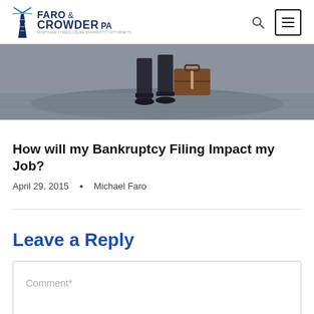FARO & CROWDER PA
[Figure (photo): Person standing on pavement holding a brown leather briefcase, shot from waist down showing legs and feet in dark shoes]
How will my Bankruptcy Filing Impact my Job?
April 29, 2015 • Michael Faro
Leave a Reply
Comment*